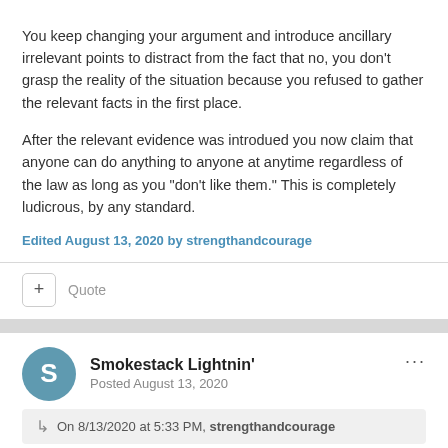You keep changing your argument and introduce ancillary irrelevant points to distract from the fact that no, you don't grasp the reality of the situation because you refused to gather the relevant facts in the first place.
After the relevant evidence was introdued you now claim that anyone can do anything to anyone at anytime regardless of the law as long as you "don't like them." This is completely ludicrous, by any standard.
Edited August 13, 2020 by strengthandcourage
Quote
Smokestack Lightnin'
Posted August 13, 2020
On 8/13/2020 at 5:33 PM, strengthandcourage